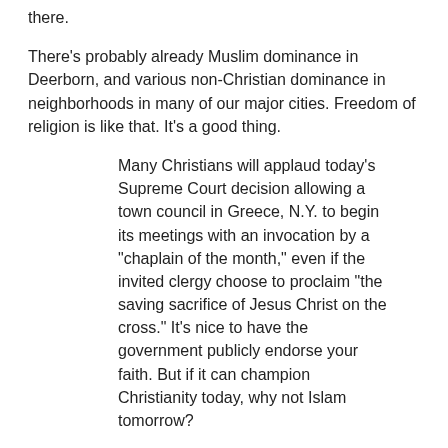there.
There's probably already Muslim dominance in Deerborn, and various non-Christian dominance in neighborhoods in many of our major cities. Freedom of religion is like that. It's a good thing.
Many Christians will applaud today's Supreme Court decision allowing a town council in Greece, N.Y. to begin its meetings with an invocation by a "chaplain of the month," even if the invited clergy choose to proclaim "the saving sacrifice of Jesus Christ on the cross." It's nice to have the government publicly endorse your faith. But if it can champion Christianity today, why not Islam tomorrow?
I have no problem with Islamic prayer at public meetings. It's completely Constitutional, and I respect other people's religious practice.
If Christians attending the local city council meeting had to sit through a prayer to Allah or